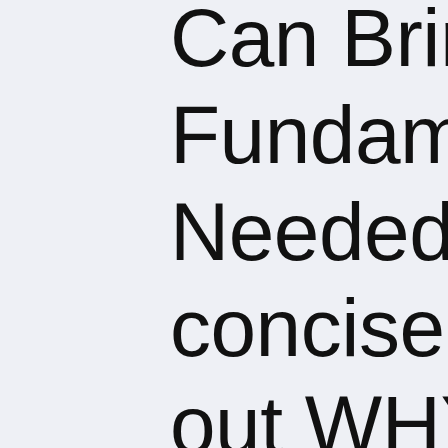Can Bring About the Fundamental Change Needed," Bob Avakian concisely and powerfully lays out WHY we need a revolution, going deep into why this system cannot be reformed but must